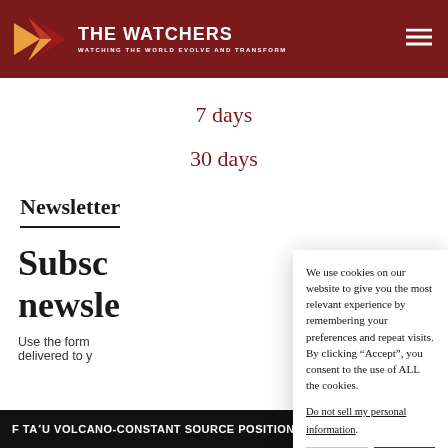THE WATCHERS — WATCHING THE WORLD EVOLVE AND TRANSFORM
7 days
30 days
Newsletter
Subsc... newsl...
Use the form... delivered to y...
We use cookies on our website to give you the most relevant experience by remembering your preferences and repeat visits. By clicking “Accept”, you consent to the use of ALL the cookies. Do not sell my personal information.
OF TAʻU VOLCANO-CONSTANT SOURCE POSITION.